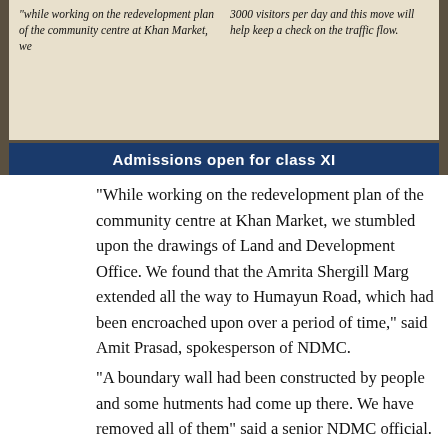[Figure (photo): Newspaper clipping photo showing two columns of italic text and a dark blue banner at the bottom reading 'Admissions open for class XI']
“While working on the redevelopment plan of the community centre at Khan Market, we stumbled upon the drawings of Land and Development Office. We found that the Amrita Shergill Marg extended all the way to Humayun Road, which had been encroached upon over a period of time,” said Amit Prasad, spokesperson of NDMC.
“A boundary wall had been constructed by people and some hutments had come up there. We have removed all of them” said a senior NDMC official.
So, thanks to NDMC the 3000 daily visitors can now visit their market easily and the pesky squatters have been cleared out of city. Another victory for the world